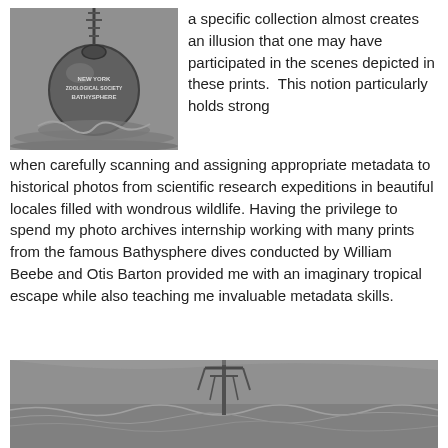[Figure (photo): Black and white photograph of the New York Zoological Society Bathysphere floating on the ocean surface]
a specific collection almost creates an illusion that one may have participated in the scenes depicted in these prints.  This notion particularly holds strong when carefully scanning and assigning appropriate metadata to historical photos from scientific research expeditions in beautiful locales filled with wondrous wildlife. Having the privilege to spend my photo archives internship working with many prints from the famous Bathysphere dives conducted by William Beebe and Otis Barton provided me with an imaginary tropical escape while also teaching me invaluable metadata skills.
[Figure (photo): Black and white photograph of what appears to be the Bathysphere or related equipment emerging from or at the ocean surface]